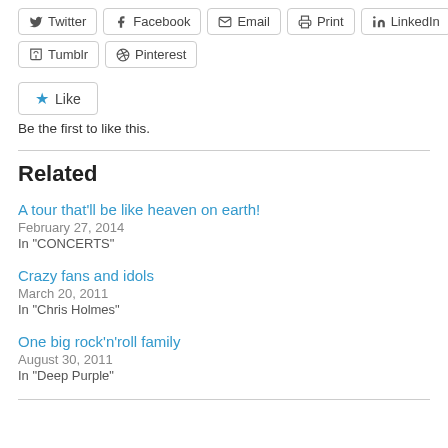Twitter Facebook Email Print LinkedIn Tumblr Pinterest
[Figure (other): Like button widget with star icon]
Be the first to like this.
Related
A tour that'll be like heaven on earth!
February 27, 2014
In "CONCERTS"
Crazy fans and idols
March 20, 2011
In "Chris Holmes"
One big rock'n'roll family
August 30, 2011
In "Deep Purple"